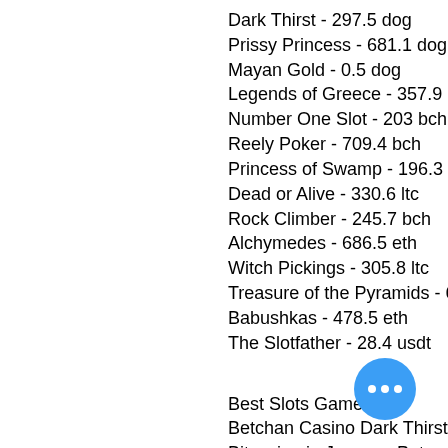Dark Thirst - 297.5 dog
Prissy Princess - 681.1 dog
Mayan Gold - 0.5 dog
Legends of Greece - 357.9 bch
Number One Slot - 203 bch
Reely Poker - 709.4 bch
Princess of Swamp - 196.3 bch
Dead or Alive - 330.6 ltc
Rock Climber - 245.7 bch
Alchymedes - 686.5 eth
Witch Pickings - 305.8 ltc
Treasure of the Pyramids - 659.6 btc
Babushkas - 478.5 eth
The Slotfather - 28.4 usdt
Best Slots Games:
Betchan Casino Dark Thirst
Bitcasino.io Jacques Pot
OneHash Brave Mongoose
1xSlots Casino Brilliants Hot
BetChain Casino 5 Reel Hot Fir...